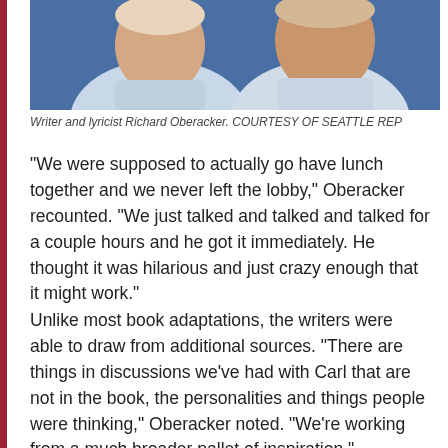[Figure (photo): Photo of writer and lyricist Richard Oberacker, cropped showing two people in light blue/grey shirts against a blue background.]
Writer and lyricist Richard Oberacker. COURTESY OF SEATTLE REP
“We were supposed to actually go have lunch together and we never left the lobby,” Oberacker recounted. “We just talked and talked and talked for a couple hours and he got it immediately. He thought it was hilarious and just crazy enough that it might work.”
Unlike most book adaptations, the writers were able to draw from additional sources. “There are things in discussions we’ve had with Carl that are not in the book, the personalities and things people were thinking,” Oberacker noted. “We’re working from a much broader pallet of inspiration.”